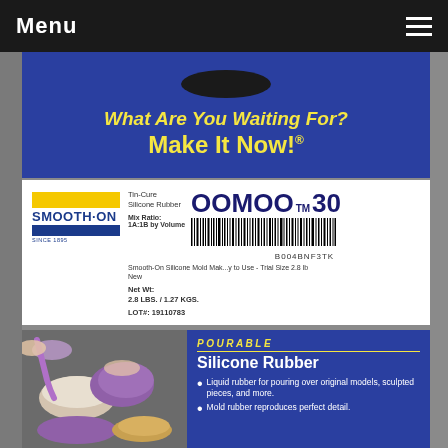Menu
[Figure (photo): Photo of Smooth-On OOMOO 30 Tin-Cure Silicone Rubber product box showing tagline 'What Are You Waiting For? Make It Now!', product label with barcode B004BNF3TK, Mix Ratio 1A:1B by Volume, Net Wt: 2.8 LBS. / 1.27 KGS., LOT#: 19110783, and lower section showing purple silicone poured molds with text POURABLE Silicone Rubber and bullet points about liquid rubber for pouring and mold rubber reproduces perfect detail.]